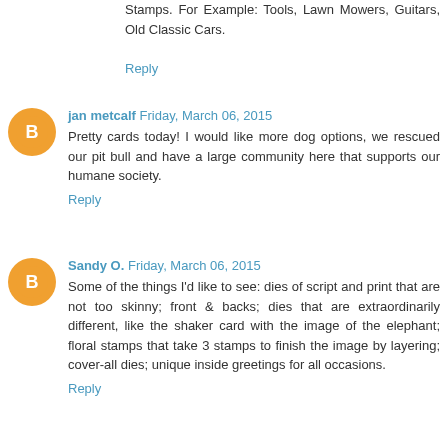Stamps. For Example: Tools, Lawn Mowers, Guitars, Old Classic Cars.
Reply
jan metcalf  Friday, March 06, 2015
Pretty cards today! I would like more dog options, we rescued our pit bull and have a large community here that supports our humane society.
Reply
Sandy O.  Friday, March 06, 2015
Some of the things I'd like to see: dies of script and print that are not too skinny; front & backs; dies that are extraordinarily different, like the shaker card with the image of the elephant; floral stamps that take 3 stamps to finish the image by layering; cover-all dies; unique inside greetings for all occasions.
Reply